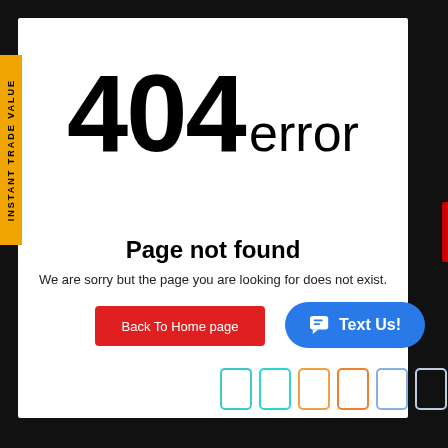[Figure (screenshot): 404 error page screenshot with white card on dark background]
404  error
Page not found
We are sorry but the page you are looking for does not exist.
Back To Home page
Text Us!